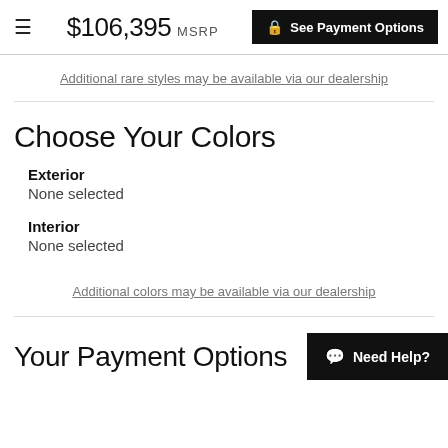≡  $106,395 MSRP  See Payment Options
Additional rare styles may be available via our dealership
Choose Your Colors
Exterior
None selected
Interior
None selected
Additional colors may be available via our dealership
Your Payment Options